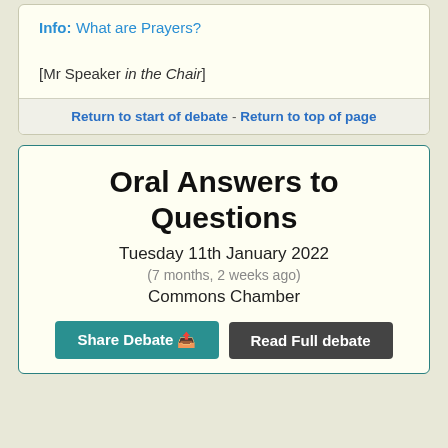Info: What are Prayers?
[Mr Speaker in the Chair]
Return to start of debate  -  Return to top of page
Oral Answers to Questions
Tuesday 11th January 2022
(7 months, 2 weeks ago)
Commons Chamber
Share Debate   Read Full debate